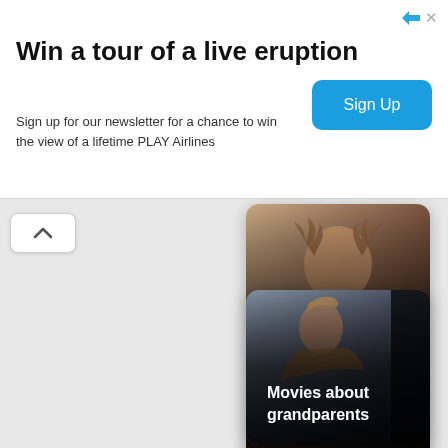[Figure (infographic): Advertisement banner: 'Win a tour of a live eruption - Sign up for our newsletter for a chance to win the view of a lifetime PLAY Airlines' with a blue Sign Up button and close icons in top right.]
[Figure (photo): Movie category card with photo of a woman holding antlers, labeled 'Movies about single mothers' with dark gradient overlay and white text.]
[Figure (photo): Movie category card with photo of an older man leaning out of a vehicle, labeled 'Movies about grandparents' with dark gradient overlay and white text.]